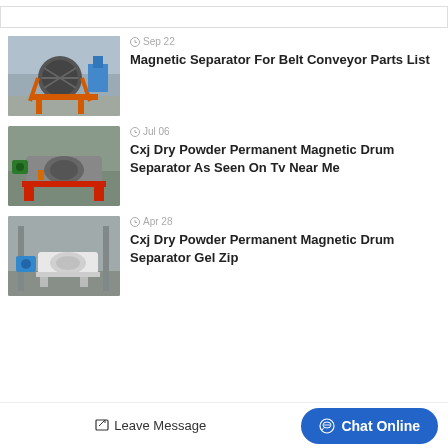Sep 22 — Magnetic Separator For Belt Conveyor Parts List
[Figure (photo): Industrial magnetic separator drum on an orange frame in a factory setting]
Jul 06 — Cxj Dry Powder Permanent Magnetic Drum Separator As Seen On Tv Near Me
[Figure (photo): Red-framed magnetic drum separator machine in a workshop]
Apr 28 — Cxj Dry Powder Permanent Magnetic Drum Separator Gel Zip
[Figure (photo): White magnetic drum separator machine in a large industrial building]
Leave Message
Chat Online